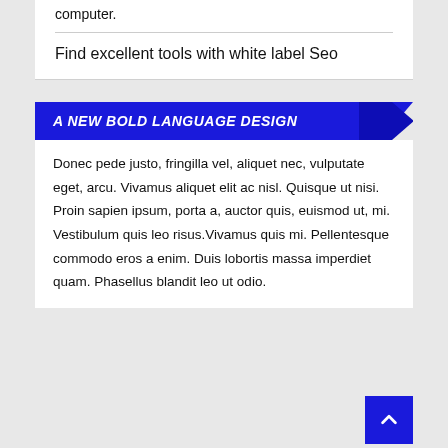computer.
Find excellent tools with white label Seo
A NEW BOLD LANGUAGE DESIGN
Donec pede justo, fringilla vel, aliquet nec, vulputate eget, arcu. Vivamus aliquet elit ac nisl. Quisque ut nisi. Proin sapien ipsum, porta a, auctor quis, euismod ut, mi. Vestibulum quis leo risus.Vivamus quis mi. Pellentesque commodo eros a enim. Duis lobortis massa imperdiet quam. Phasellus blandit leo ut odio.